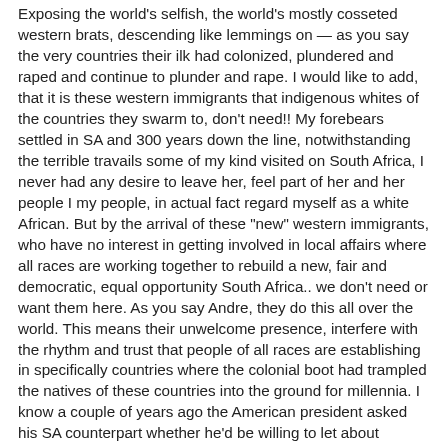Exposing the world's selfish, the world's mostly cosseted western brats, descending like lemmings on — as you say the very countries their ilk had colonized, plundered and raped and continue to plunder and rape. I would like to add, that it is these western immigrants that indigenous whites of the countries they swarm to, don't need!! My forebears settled in SA and 300 years down the line, notwithstanding the terrible travails some of my kind visited on South Africa, I never had any desire to leave her, feel part of her and her people I my people, in actual fact regard myself as a white African. But by the arrival of these "new" western immigrants, who have no interest in getting involved in local affairs where all races are working together to rebuild a new, fair and democratic, equal opportunity South Africa.. we don't need or want them here. As you say Andre, they do this all over the world. This means their unwelcome presence, interfere with the rhythm and trust that people of all races are establishing in specifically countries where the colonial boot had trampled the natives of these countries into the ground for millennia. I know a couple of years ago the American president asked his SA counterpart whether he'd be willing to let about 2.5million Americans come and settle in South Africa, but Zuma said no, it would again serve to disturb the racial balance and equilibrium in